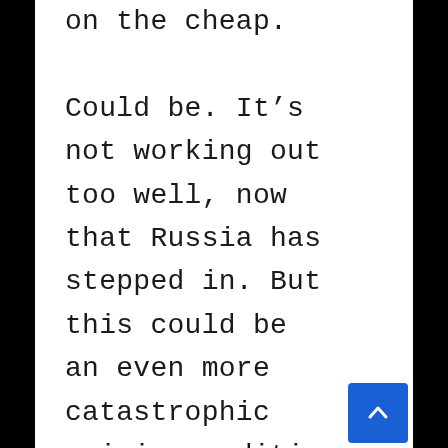on the cheap. Could be. It's not working out too well, now that Russia has stepped in. But this could be an even more catastrophic crisis-condition in view. I'm betting that way. The way of life that pertained